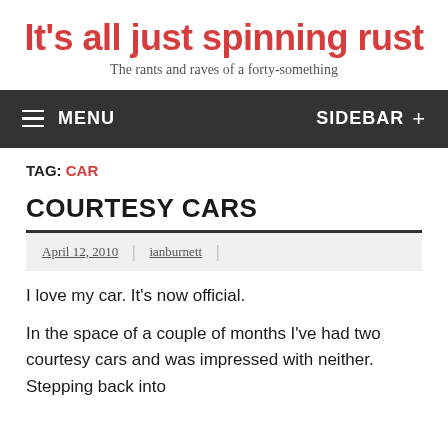It's all just spinning rust
The rants and raves of a forty-something
MENU | SIDEBAR +
TAG: CAR
COURTESY CARS
April 12, 2010 | ianburnett |
I love my car. It's now official.
In the space of a couple of months I've had two courtesy cars and was impressed with neither. Stepping back into